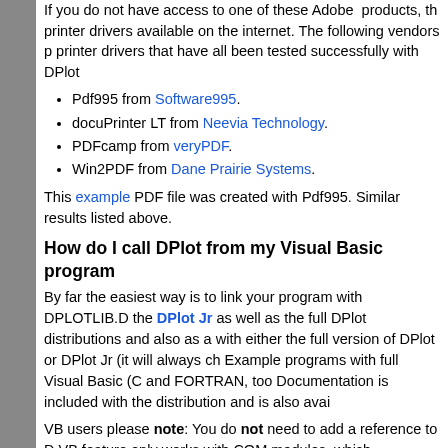If you do not have access to one of these Adobe products, there are free PDF printer drivers available on the internet. The following vendors provide PDF printer drivers that have all been tested successfully with DPlot:
Pdf995 from Software995.
docuPrinter LT from Neevia Technology.
PDFcamp from veryPDF.
Win2PDF from Dane Prairie Systems.
This example PDF file was created with Pdf995. Similar results should be obtained with any of the drivers listed above.
How do I call DPlot from my Visual Basic program?
By far the easiest way is to link your program with DPLOTLIB.DLL. This DLL is included with the DPlot Jr as well as the full DPlot distributions and also as a separate download. It works with either the full version of DPlot or DPlot Jr (it will always choose DPlot Jr if both are installed). Example programs with full Visual Basic (C and FORTRAN, too) source code are included. Documentation is included with the distribution and is also available online.
VB users please note: You do not need to add a reference to DPLOTLIB.DLL. The "Add Reference" VB feature only works with COM modules, which DPLOTLIB.DLL is not. Attempting to add such a reference will only result in an error from VB. If you follow the examples provided you should have no problem, but if you do, let us know.
How do I import a plot into PowerPoint?
Go to the Insert menu of the Microsoft Office product. More...